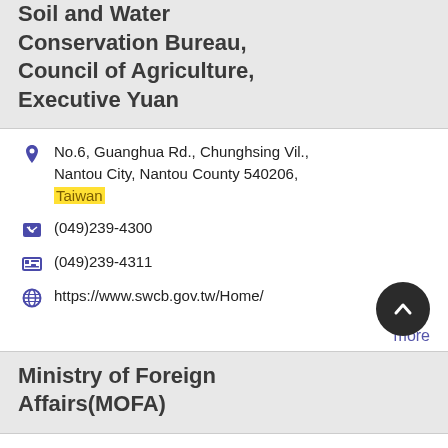Soil and Water Conservation Bureau, Council of Agriculture, Executive Yuan
No.6, Guanghua Rd., Chunghsing Vil., Nantou City, Nantou County 540206, Taiwan
(049)239-4300
(049)239-4311
https://www.swcb.gov.tw/Home/
more
Ministry of Foreign Affairs(MOFA)
No.2 Ketagalan Blvd. Taipei 10048, Taiwan
(02)2348-2999
(886)-2-2380-5678